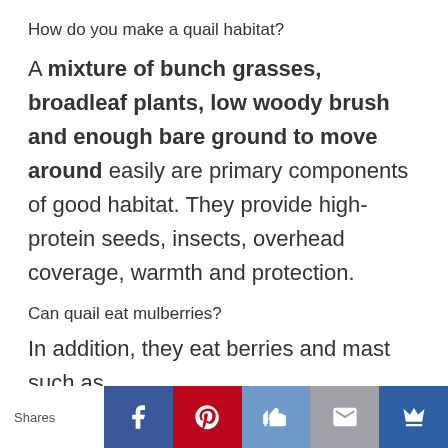How do you make a quail habitat?
A mixture of bunch grasses, broadleaf plants, low woody brush and enough bare ground to move around easily are primary components of good habitat. They provide high-protein seeds, insects, overhead coverage, warmth and protection.
Can quail eat mulberries?
In addition, they eat berries and mast such as
[Figure (infographic): Social sharing toolbar with Facebook, Pinterest, Like, Email, and crown/bookmark buttons. Shows 'Shares' label on left.]